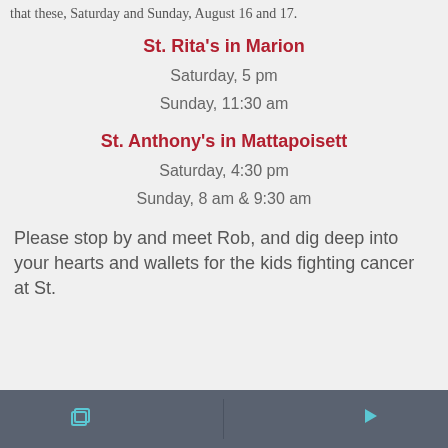that these, Saturday and Sunday, August 16 and 17.
St. Rita's in Marion
Saturday, 5 pm
Sunday, 11:30 am
St. Anthony's in Mattapoisett
Saturday, 4:30 pm
Sunday, 8 am & 9:30 am
Please stop by and meet Rob, and dig deep into your hearts and wallets for the kids fighting cancer at St.
navigation bar with copy and play icons